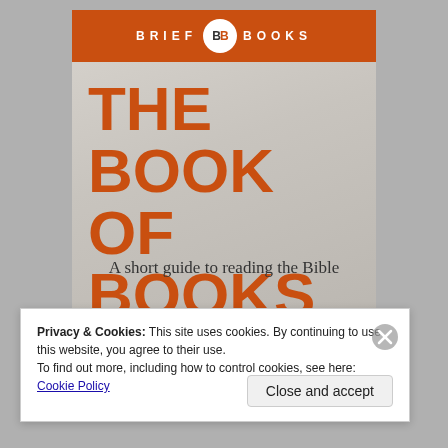[Figure (illustration): Book cover for 'The Book of Books: A short guide to reading the Bible' by Geoff Robson, published by Brief Books. Orange top bar with 'BRIEF BB BOOKS' branding, large orange title text on silver/grey gradient background, subtitle in dark serif font, author name in orange bold text.]
Privacy & Cookies: This site uses cookies. By continuing to use this website, you agree to their use.
To find out more, including how to control cookies, see here: Cookie Policy
Close and accept